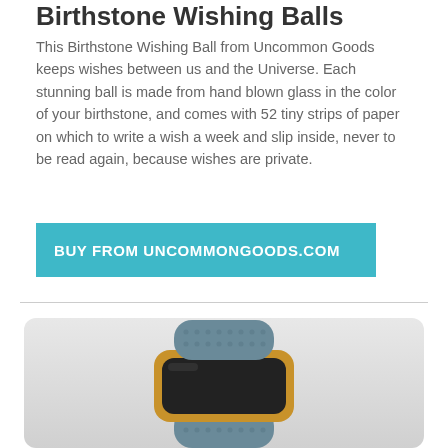Birthstone Wishing Balls
This Birthstone Wishing Ball from Uncommon Goods keeps wishes between us and the Universe. Each stunning ball is made from hand blown glass in the color of your birthstone, and comes with 52 tiny strips of paper on which to write a wish a week and slip inside, never to be read again, because wishes are private.
BUY FROM UNCOMMONGOODS.COM
[Figure (photo): Product photo of a smartwatch/fitness tracker with a blue-gray textured band and gold/copper accents on the face, shown against a light gray rounded-rectangle background]